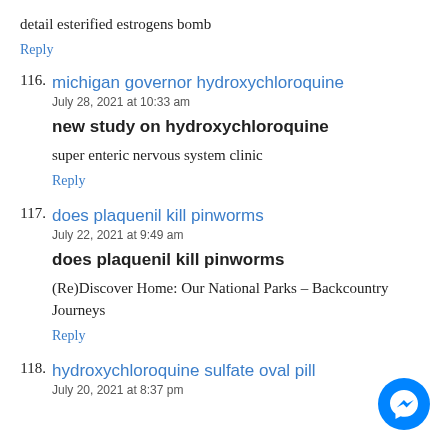detail esterified estrogens bomb
Reply
116. michigan governor hydroxychloroquine
July 28, 2021 at 10:33 am
new study on hydroxychloroquine
super enteric nervous system clinic
Reply
117. does plaquenil kill pinworms
July 22, 2021 at 9:49 am
does plaquenil kill pinworms
(Re)Discover Home: Our National Parks – Backcountry Journeys
Reply
118. hydroxychloroquine sulfate oval pill
July 20, 2021 at 8:37 pm